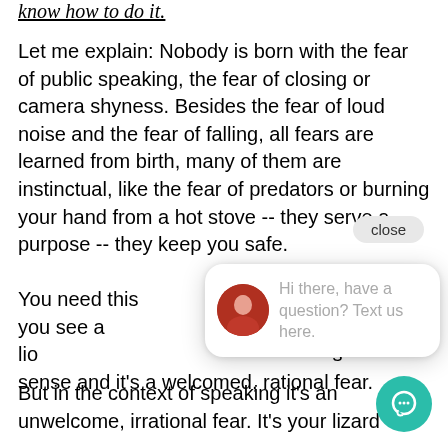know how to do it.
Let me explain: Nobody is born with the fear of public speaking, the fear of closing or camera shyness. Besides the fear of loud noise and the fear of falling, all fears are learned from birth, many of them are instinctual, like the fear of predators or burning your hand from a hot stove -- they serve a purpose -- they keep you safe.
You need this... you see a lion... sense and it's a welcomed, rational fear.
But in the context of speaking it's an unwelcome, irrational fear. It's your lizard
[Figure (screenshot): Chat popup widget with a woman's avatar photo and text 'Hi there, have a question? Text us here.' along with a close button and a teal chat icon button.]